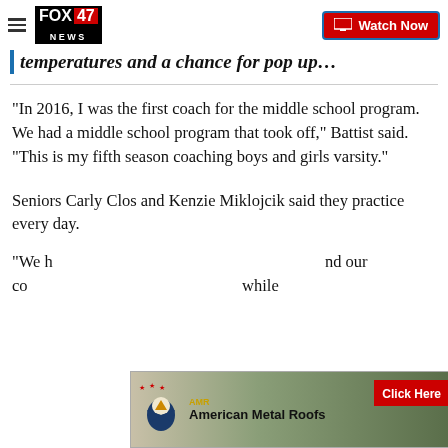FOX 47 NEWS — Watch Now
temperatures and a chance for pop up…
“In 2016, I was the first coach for the middle school program. We had a middle school program that took off,” Battist said. “This is my fifth season coaching boys and girls varsity.”
Seniors Carly Clos and Kenzie Miklojcik said they practice every day.
“We h…nd our co…while
[Figure (advertisement): American Metal Roofs advertisement with eagle logo, Click Here button, and house with metal roof background image]